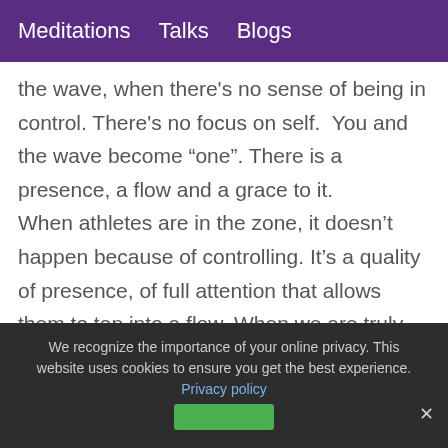Meditations  Talks  Blogs
the wave, when there's no sense of being in control. There's no focus on self.  You and the wave become “one”. There is a presence, a flow and a grace to it.
When athletes are in the zone, it doesn’t happen because of controlling. It’s a quality of presence, of full attention that allows them to tap into a flow. When we are truly empowered, all self consciousness or notions of a self in charge have vanished
We recognize the importance of your online privacy. This website uses cookies to ensure you get the best experience. Privacy policy